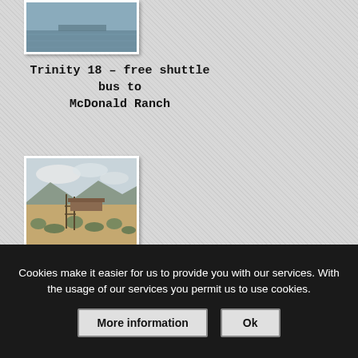[Figure (photo): Partial photo of a body of water or landscape, shown at top of page, cropped]
Trinity 18 – free shuttle bus to McDonald Ranch
[Figure (photo): Photo of a desert landscape with dry scrubby brush, a wooden structure or fence post in the middle distance, and mountains/cloudy sky in the background]
Cookies make it easier for us to provide you with our services. With the usage of our services you permit us to use cookies.
More information
Ok